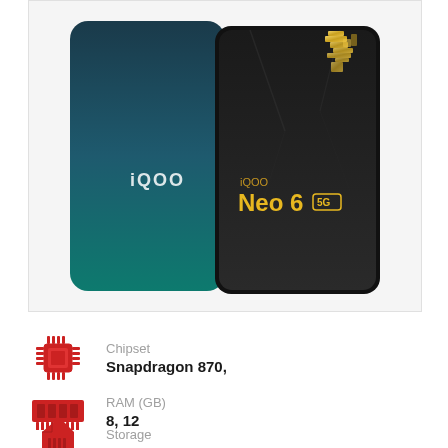[Figure (photo): iQOO Neo 6 5G smartphone shown from back (teal/dark blue color with iQOO branding) and front (screen showing iQOO Neo 6 5G text in gold on dark background with geometric gold pattern)]
Chipset
Snapdragon 870,
RAM (GB)
8, 12
Storage
128, 256